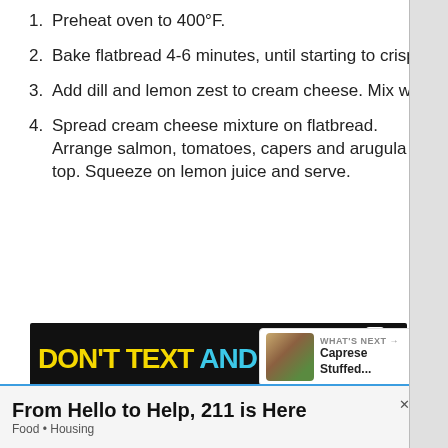Preheat oven to 400°F.
Bake flatbread 4-6 minutes, until starting to crisp.
Add dill and lemon zest to cream cheese. Mix well.
Spread cream cheese mixture on flatbread. Arrange salmon, tomatoes, capers and arugula on top. Squeeze on lemon juice and serve.
[Figure (screenshot): Advertisement banner: DON'T TEXT AND [car emoji] with NHTSA branding on black background]
[Figure (infographic): WHAT'S NEXT panel showing Caprese Stuffed... with food thumbnail]
[Figure (screenshot): Bottom advertisement: From Hello to Help, 211 is Here - Food · Housing]